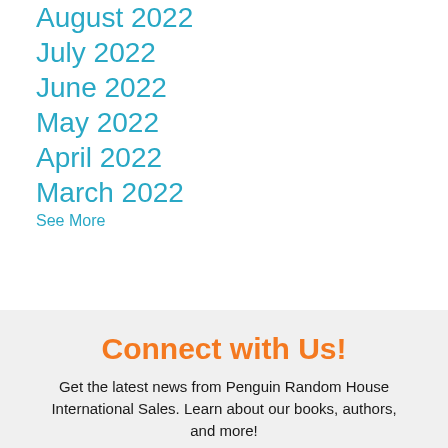August 2022
July 2022
June 2022
May 2022
April 2022
March 2022
See More
Connect with Us!
Get the latest news from Penguin Random House International Sales. Learn about our books, authors, and more!